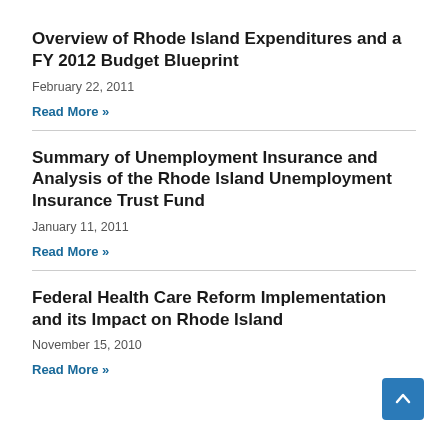Overview of Rhode Island Expenditures and a FY 2012 Budget Blueprint
February 22, 2011
Read More »
Summary of Unemployment Insurance and Analysis of the Rhode Island Unemployment Insurance Trust Fund
January 11, 2011
Read More »
Federal Health Care Reform Implementation and its Impact on Rhode Island
November 15, 2010
Read More »